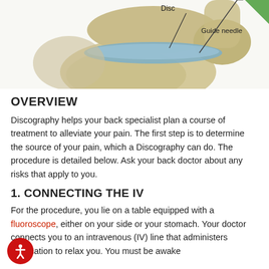[Figure (illustration): Medical illustration of a spinal disc and vertebrae showing a guide needle insertion. Labels indicate 'Disc' and 'Guide needle' on the anatomical diagram.]
OVERVIEW
Discography helps your back specialist plan a course of treatment to alleviate your pain. The first step is to determine the source of your pain, which a Discography can do. The procedure is detailed below. Ask your back doctor about any risks that apply to you.
1. CONNECTING THE IV
For the procedure, you lie on a table equipped with a fluoroscope, either on your side or your stomach. Your doctor connects you to an intravenous (IV) line that administers medication to relax you. You must be awake